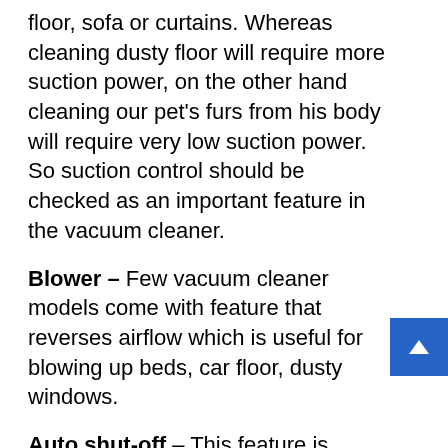floor, sofa or curtains. Whereas cleaning dusty floor will require more suction power, on the other hand cleaning our pet's furs from his body will require very low suction power. So suction control should be checked as an important feature in the vacuum cleaner.
Blower – Few vacuum cleaner models come with feature that reverses airflow which is useful for blowing up beds, car floor, dusty windows.
Auto shut-off – This feature is useful for a family with kids. Most of the times kids throw toys under the bed or sofa which is not visible. In case you are cleaning underneath of sofa, any toy or things can get in stuck in the suction pipe. Vacuum cleaners with Auto Shut-off feature immediately automatically turn OFF in